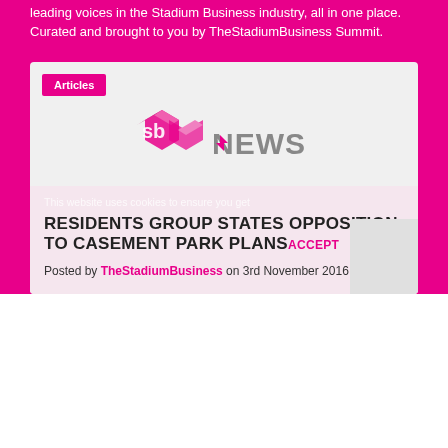leading voices in the Stadium Business industry, all in one place. Curated and brought to you by TheStadiumBusiness Summit.
Articles
[Figure (logo): SB News logo — stylized pink cube letters 'sb' with 'NEWS' in grey text next to it]
This website uses cookies to ensure you get
RESIDENTS GROUP STATES OPPOSITION TO CASEMENT PARK PLANS
Posted by TheStadiumBusiness on 3rd November 2016